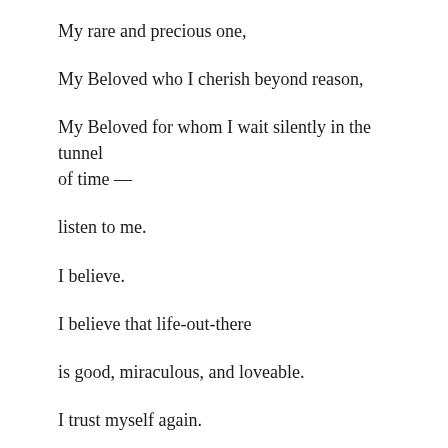My rare and precious one,
My Beloved who I cherish beyond reason,
My Beloved for whom I wait silently in the tunnel of time —
listen to me.
I believe.
I believe that life-out-there
is good, miraculous, and loveable.
I trust myself again.
I feel innocent again like a child.